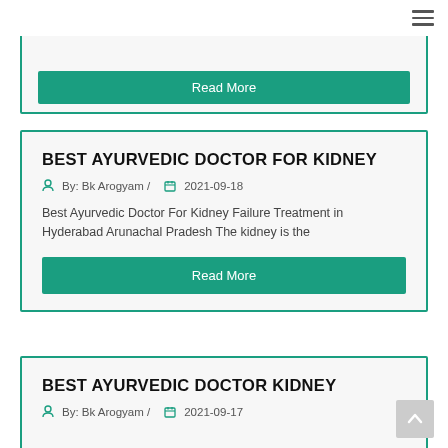≡
BEST AYURVEDIC DOCTOR FOR KIDNEY
By: Bk Arogyam / 2021-09-18
Best Ayurvedic Doctor For Kidney Failure Treatment in Hyderabad Arunachal Pradesh The kidney is the
Read More
BEST AYURVEDIC DOCTOR KIDNEY
By: Bk Arogyam / 2021-09-17